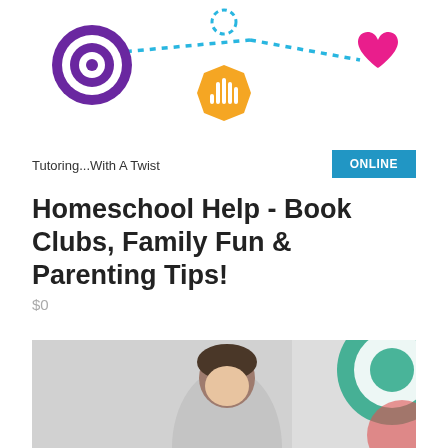[Figure (illustration): Colorful icons connected by blue dotted chain: purple target/eye icon, orange hand/stop icon, pink heart icon forming a necklace-like illustration]
Tutoring...With A Twist
ONLINE
Homeschool Help - Book Clubs, Family Fun & Parenting Tips!
$0
1
[Figure (photo): Photo of a child (girl with dark hair) studying or writing, with colorful circular design elements in the background on the right side]